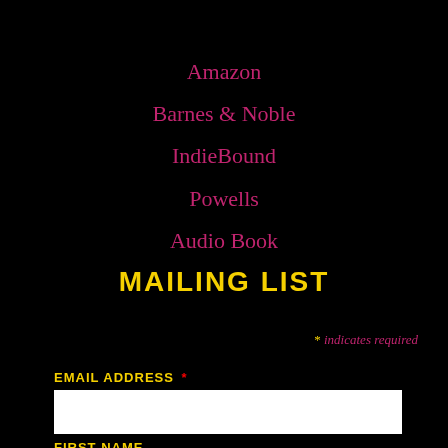Amazon
Barnes & Noble
IndieBound
Powells
Audio Book
MAILING LIST
* indicates required
EMAIL ADDRESS *
FIRST NAME